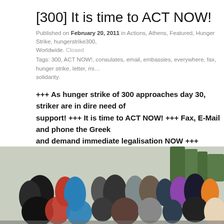[300] It is time to ACT NOW!
Published on February 20, 2011 in Actions, Athens, Featured, Hunger Strike, hungerstrike300, Worldwide. Closed
Tags: 300, ACT NOW!, consulates, email, embassies, everywhere, fax, hunger strike, letter, mi… solidarity.
+++ As hunger strike of 300 approaches day 30, striker are in dire need of support! +++ It is time to ACT NOW! +++ Fax, E-Mail and phone the Greek and demand immediate legalisation NOW +++
I want to be treated as a human being – like the Greeks. When we wi… papers, I will not anymore be afraid of police and I can work legally wi… insurance. But most of the time I think now: what will happen if the go… does not give an answer? (Arqal, hunger striker in Athens)
[Figure (photo): Crowd of people at a protest or gathering, photographed outdoors with trees visible in background]